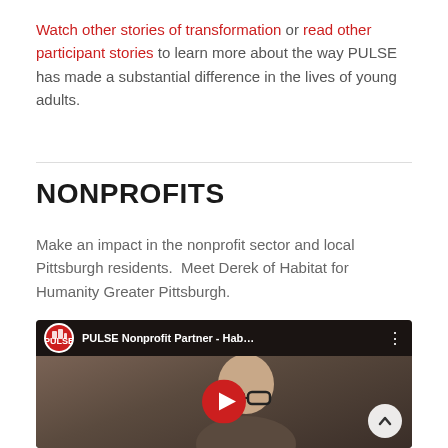Watch other stories of transformation or read other participant stories to learn more about the way PULSE has made a substantial difference in the lives of young adults.
NONPROFITS
Make an impact in the nonprofit sector and local Pittsburgh residents.  Meet Derek of Habitat for Humanity Greater Pittsburgh.
[Figure (screenshot): YouTube video thumbnail showing PULSE Nonprofit Partner - Hab... with a bald man wearing glasses, PULSE logo in top left, play button in center, and scroll-to-top button in bottom right.]